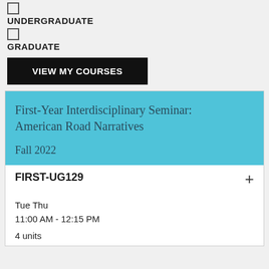UNDERGRADUATE
GRADUATE
VIEW MY COURSES
First-Year Interdisciplinary Seminar: American Road Narratives
Fall 2022
FIRST-UG129
Tue Thu
11:00 AM - 12:15 PM
4 units